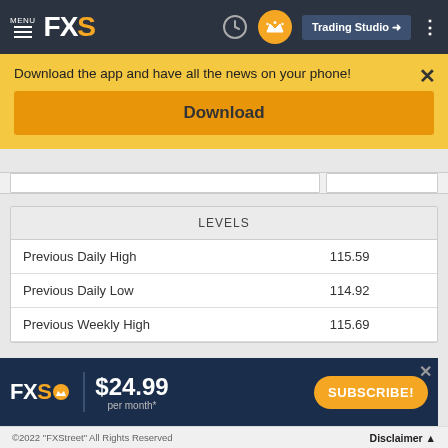[Figure (screenshot): FXStreet website navigation bar with FXS logo, clock icon, crown icon, Trading Studio button, and dots menu]
Download the app and have all the news on your phone!
Download
| LEVELS |  |
| --- | --- |
| Previous Daily High | 115.59 |
| Previous Daily Low | 114.92 |
| Previous Weekly High | 115.69 |
[Figure (screenshot): FXStreet subscription banner: FXS logo with crown, $24.99 per month*, Subscribe button]
©2022 "FXStreet" All Rights Reserved    Disclaimer ▲